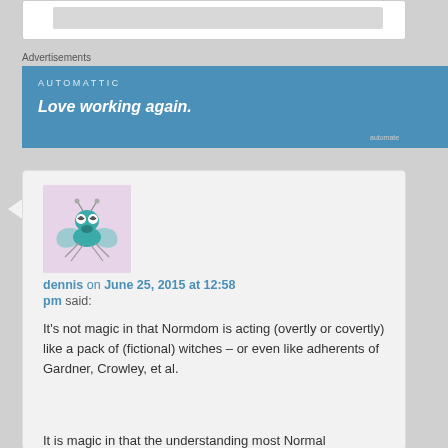Advertisements
[Figure (screenshot): Automattic advertisement banner with blue background showing 'AUTOMATTIC' and tagline 'Love working again.']
[Figure (illustration): Cartoon illustration of a mosquito-like bug character with teal/blue coloring on a pink/lavender background, used as user avatar]
dennis on June 25, 2015 at 12:58 pm said:
It's not magic in that Normdom is acting (overtly or covertly) like a pack of (fictional) witches – or even like adherents of Gardner, Crowley, et al.

It is magic in that the understanding most Normal